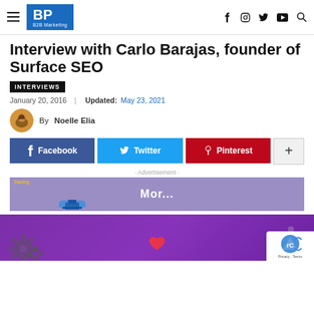BP B2B Marketing — navigation header with social icons (Facebook, Instagram, Twitter, YouTube, Search)
Interview with Carlo Barajas, founder of Surface SEO
INTERVIEWS
January 20, 2016  |  Updated: May 23, 2021
By Noelle Elia
[Figure (infographic): Social share buttons: Facebook (blue), Twitter (cyan), Pinterest (red), and a '+' more button]
· Advertisement ·
[Figure (screenshot): Advertisement block with purple background showing 'Mor...' text and a small illustration]
[Figure (illustration): Purple hero image with gear icons and a heart icon]